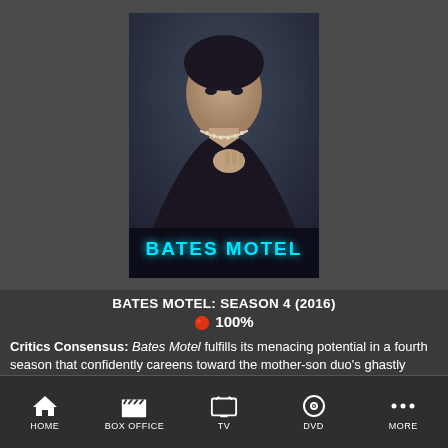[Figure (photo): Movie poster for Bates Motel showing a young man in dark clothing holding a pearl necklace with the text BATES MOTEL at the bottom]
BATES MOTEL: SEASON 4 (2016)
🍅 100%
Critics Consensus: Bates Motel fulfills its menacing potential in a fourth season that confidently careens toward the mother-son duo's ghastly destiny.
Starring: Vera Farmiga, Freddie Highmore, Max Thieriot, Olivia Cooke
HOME | BOX OFFICE | TV | DVD | MORE